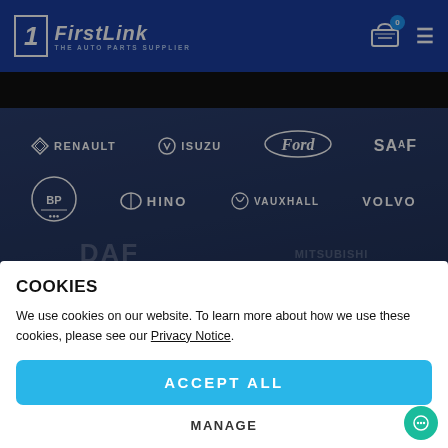[Figure (logo): FirstLink - The Auto Parts Supplier logo with shopping cart and hamburger menu]
[Figure (screenshot): Auto parts supplier website screenshot showing brand logos: Renault, Isuzu, Ford, SAF, BP, Hino, Vauxhall, Volvo in white on dark blue background]
COOKIES
We use cookies on our website. To learn more about how we use these cookies, please see our Privacy Notice.
ACCEPT ALL
MANAGE